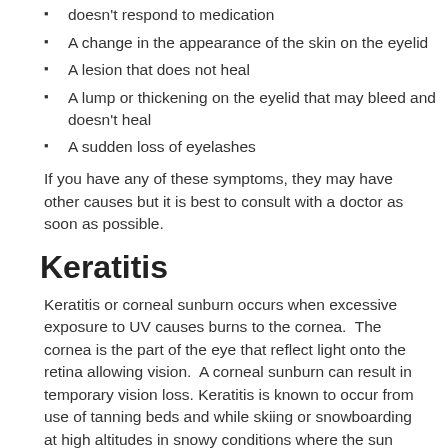doesn't respond to medication
A change in the appearance of the skin on the eyelid
A lesion that does not heal
A lump or thickening on the eyelid that may bleed and doesn't heal
A sudden loss of eyelashes
If you have any of these symptoms, they may have other causes but it is best to consult with a doctor as soon as possible.
Keratitis
Keratitis or corneal sunburn occurs when excessive exposure to UV causes burns to the cornea.  The cornea is the part of the eye that reflect light onto the retina allowing vision.  A corneal sunburn can result in temporary vision loss. Keratitis is known to occur from use of tanning beds and while skiing or snowboarding at high altitudes in snowy conditions where the sun rays reflect off of the white snow into the eyes. Proper eye protection is essential for these environments.